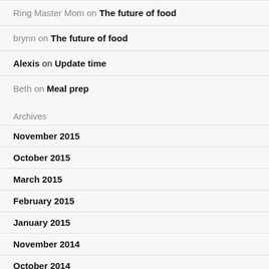Ring Master Mom on The future of food
brynn on The future of food
Alexis on Update time
Beth on Meal prep
Archives
November 2015
October 2015
March 2015
February 2015
January 2015
November 2014
October 2014
September 2014